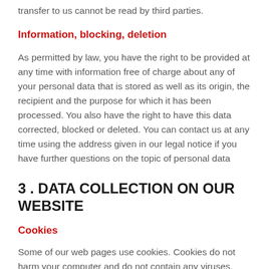transfer to us cannot be read by third parties.
Information, blocking, deletion
As permitted by law, you have the right to be provided at any time with information free of charge about any of your personal data that is stored as well as its origin, the recipient and the purpose for which it has been processed. You also have the right to have this data corrected, blocked or deleted. You can contact us at any time using the address given in our legal notice if you have further questions on the topic of personal data
3 . DATA COLLECTION ON OUR WEBSITE
Cookies
Some of our web pages use cookies. Cookies do not harm your computer and do not contain any viruses.